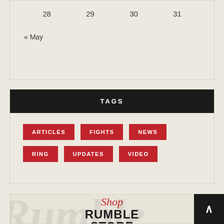| 28 | 29 | 30 | 31 |
« May
TAGS
ARTICLES
FIGHTS
NEWS
RING
UPDATES
VIDEO
[Figure (illustration): Shop Rumble Store promotional banner with script 'Shop' in red italic and bold 'RUMBLE STORE' text on a light background with watermark script text]